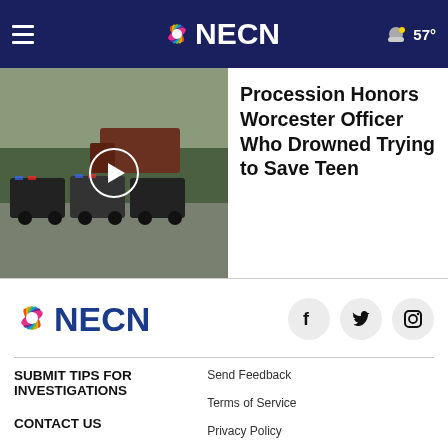NECN — 57°
[Figure (screenshot): News video thumbnail showing a procession of police vehicles on a road]
Procession Honors Worcester Officer Who Drowned Trying to Save Teen
[Figure (logo): NECN logo with NBC peacock icon]
[Figure (infographic): Social media icons: Facebook, Twitter, Instagram]
SUBMIT TIPS FOR INVESTIGATIONS
CONTACT US
NEWSLETTERS
Send Feedback
Terms of Service
Privacy Policy
Do Not Sell My Personal Information
Advertise with us
CA Notice